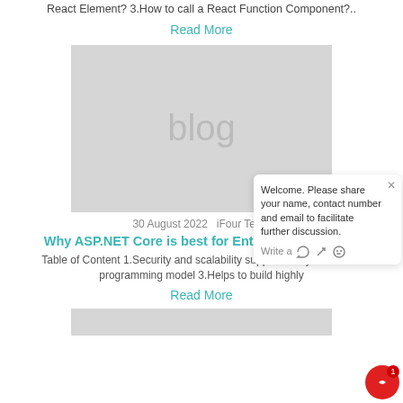React Element? 3.How to call a React Function Component?..
Read More
[Figure (illustration): Gray placeholder image with the word 'blog' in large light gray text]
30 August 2022   iFour Team
Why ASP.NET Core is best for Enterprise Web Ap...
Table of Content 1.Security and scalability support 2.Asynchronous programming model 3.Helps to build highly
Read More
[Figure (screenshot): Chat widget showing: Welcome. Please share your name, contact number and email to facilitate further discussion. Write a message area with icons.]
[Figure (photo): Bottom gray placeholder image beginning to appear]